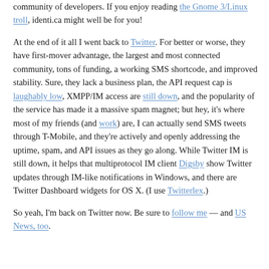community of developers. If you enjoy reading the Gnome 3/Linux troll, identi.ca might well be for you!
At the end of it all I went back to Twitter. For better or worse, they have first-mover advantage, the largest and most connected community, tons of funding, a working SMS shortcode, and improved stability. Sure, they lack a business plan, the API request cap is laughably low, XMPP/IM access are still down, and the popularity of the service has made it a massive spam magnet; but hey, it's where most of my friends (and work) are, I can actually send SMS tweets through T-Mobile, and they're actively and openly addressing the uptime, spam, and API issues as they go along. While Twitter IM is still down, it helps that multiprotocol IM client Digsby show Twitter updates through IM-like notifications in Windows, and there are Twitter Dashboard widgets for OS X. (I use Twitterlex.)
So yeah, I'm back on Twitter now. Be sure to follow me — and US News, too.